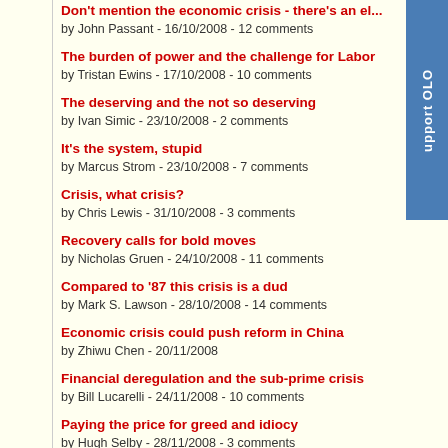Don't mention the economic crisis - there's an el... by John Passant - 16/10/2008 - 12 comments
The burden of power and the challenge for Labor by Tristan Ewins - 17/10/2008 - 10 comments
The deserving and the not so deserving by Ivan Simic - 23/10/2008 - 2 comments
It's the system, stupid by Marcus Strom - 23/10/2008 - 7 comments
Crisis, what crisis? by Chris Lewis - 31/10/2008 - 3 comments
Recovery calls for bold moves by Nicholas Gruen - 24/10/2008 - 11 comments
Compared to '87 this crisis is a dud by Mark S. Lawson - 28/10/2008 - 14 comments
Economic crisis could push reform in China by Zhiwu Chen - 20/11/2008
Financial deregulation and the sub-prime crisis by Bill Lucarelli - 24/11/2008 - 10 comments
Paying the price for greed and idiocy by Hugh Selby - 28/11/2008 - 3 comments
The new CEO of 'America Inc' by Ciaran Ryan - 28/11/2008 - 4 comments
Free-marketers must make a convincing case by Oliver Hartwich - 1/12/2008 - 13 comments